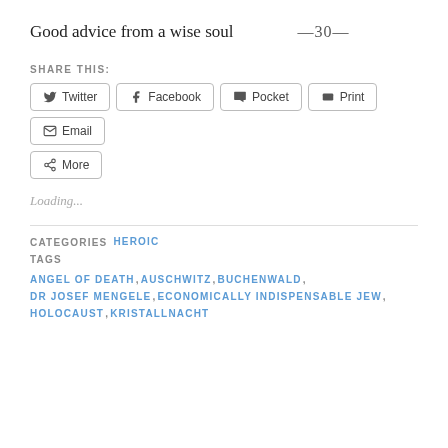Good advice from a wise soul
—30—
SHARE THIS:
Twitter  Facebook  Pocket  Print  Email  More
Loading...
CATEGORIES  HEROIC
TAGS  ANGEL OF DEATH, AUSCHWITZ, BUCHENWALD, DR JOSEF MENGELE, ECONOMICALLY INDISPENSABLE JEW, HOLOCAUST, KRISTALLNACHT